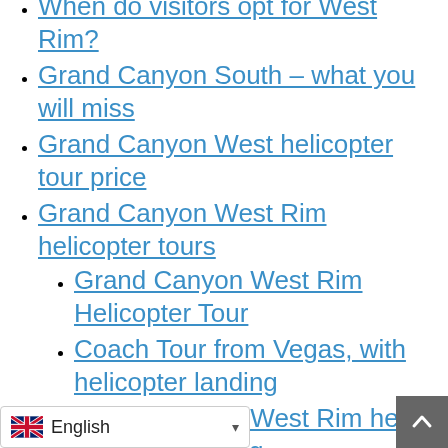When do visitors opt for West Rim?
Grand Canyon South – what you will miss
Grand Canyon West helicopter tour price
Grand Canyon West Rim helicopter tours
Grand Canyon West Rim Helicopter Tour
Coach Tour from Vegas, with helicopter landing
Grand Canyon West Rim heli tour with landing
Heli Tour With Below the Rim Landing and Skywalk
Grand Canyon West helicopter and boat tour
Deluxe Sunset Helicopter